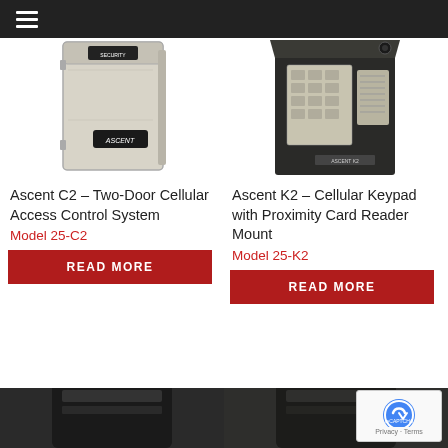[Figure (photo): Ascent C2 two-door cellular access control system — off-white metal enclosure box with Security Brands label and Ascent logo]
Ascent C2 – Two-Door Cellular Access Control System
Model 25-C2
READ MORE
[Figure (photo): Ascent K2 cellular keypad with proximity card reader mount — dark housing with numeric keypad and speaker grille]
Ascent K2 – Cellular Keypad with Proximity Card Reader Mount
Model 25-K2
READ MORE
[Figure (photo): Bottom portion of a third product, partially visible — dark colored device]
[Figure (photo): Bottom portion of a fourth product, partially visible — dark colored device]